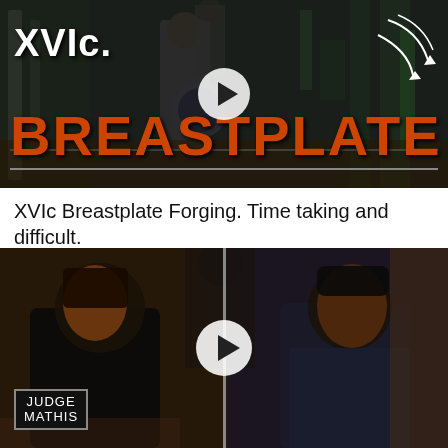[Figure (screenshot): Video thumbnail for XVIc Breastplate Forging showing forge/workshop background with large orange 'BREASTPLATE' text, white 'XVIc.' text, a play button icon, and white arrow decorations pointing to a figure in the forge scene.]
XVIc Breastplate Forging. Time taking and difficult.
[Figure (screenshot): Video thumbnail from Judge Mathis TV show. Two people standing in a courtroom: a woman in black on the left, a man in a patterned shirt on the right. A white play button is centered. The Judge Mathis logo appears in the lower left corner.]